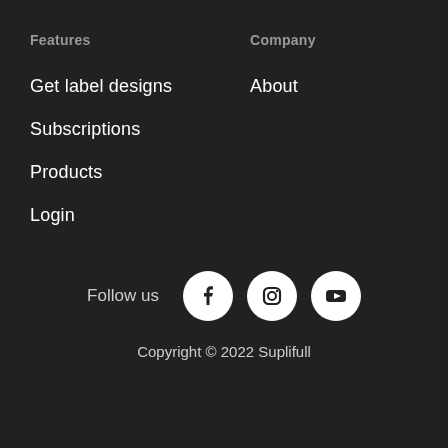Features
Company
Get label designs
About
Subscriptions
Products
Login
Follow us
[Figure (illustration): Social media icons: Facebook, Instagram, YouTube]
Copyright © 2022 Suplifull